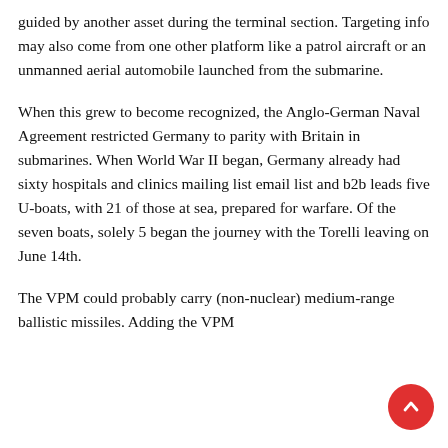guided by another asset during the terminal section. Targeting info may also come from one other platform like a patrol aircraft or an unmanned aerial automobile launched from the submarine.
When this grew to become recognized, the Anglo-German Naval Agreement restricted Germany to parity with Britain in submarines. When World War II began, Germany already had sixty hospitals and clinics mailing list email list and b2b leads five U-boats, with 21 of those at sea, prepared for warfare. Of the seven boats, solely 5 began the journey with the Torelli leaving on June 14th.
The VPM could probably carry (non-nuclear) medium-range ballistic missiles. Adding the VPM could also cut the cost of a nuclear-powered $500